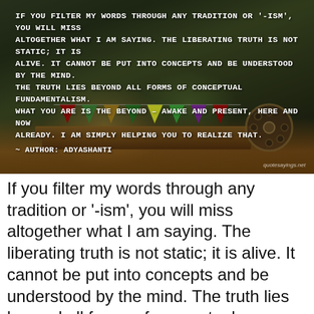[Figure (photo): Photograph of autumn leaves and a wheelbarrow with colorful bunting flags, overlaid with a quote in white monospace text on a dark background.]
If you filter my words through any tradition or '-ism', you will miss altogether what I am saying. The liberating truth is not static; it is alive. It cannot be put into concepts and be understood by the mind. The truth lies beyond all forms of conceptual fundamentalism. What you are is the beyond - awake and present, here and now already. I am simply helping you to realize that. — Adyashanti